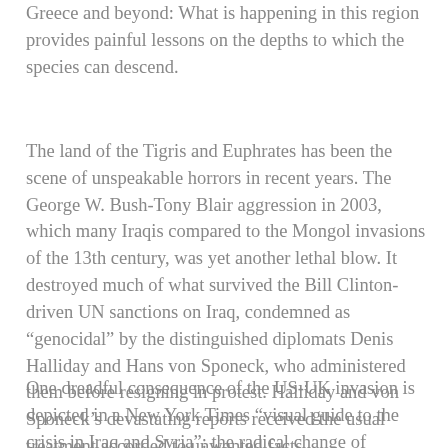Greece and beyond: What is happening in this region provides painful lessons on the depths to which the species can descend.
The land of the Tigris and Euphrates has been the scene of unspeakable horrors in recent years. The George W. Bush-Tony Blair aggression in 2003, which many Iraqis compared to the Mongol invasions of the 13th century, was yet another lethal blow. It destroyed much of what survived the Bill Clinton-driven UN sanctions on Iraq, condemned as “genocidal” by the distinguished diplomats Denis Halliday and Hans von Sponeck, who administered them before resigning in protest. Halliday and von Sponeck’s devastating reports received the usual treatment accorded to unwanted facts.
One dreadful consequence of the US-UK invasion is depicted in a New York Times “visual guide to the crisis in Iraq and Syria”: the radical change of Baghdad from